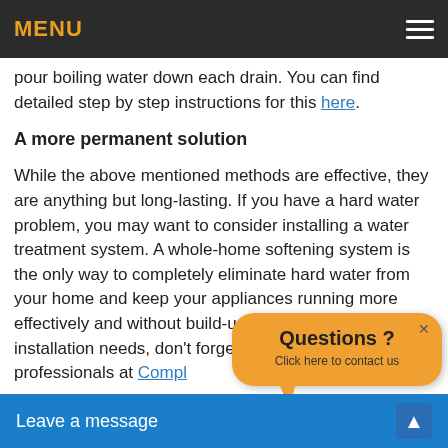MENU
pour boiling water down each drain. You can find detailed step by step instructions for this here.
A more permanent solution
While the above mentioned methods are effective, they are anything but long-lasting. If you have a hard water problem, you may want to consider installing a water treatment system. A whole-home softening system is the only way to completely eliminate hard water from your home and keep your appliances running more effectively and without build-up. For any of your installation needs, don't forget to get in touch with the professionals at Compl...
[Figure (other): Orange speech-bubble popup with text 'Questions ? Click here to contact us' and an X close button]
Leave a message